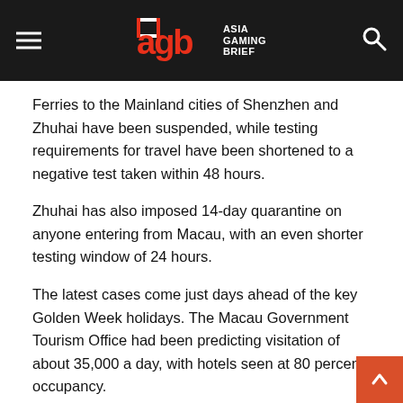Asia Gaming Brief
Ferries to the Mainland cities of Shenzhen and Zhuhai have been suspended, while testing requirements for travel have been shortened to a negative test taken within 48 hours.
Zhuhai has also imposed 14-day quarantine on anyone entering from Macau, with an even shorter testing window of 24 hours.
The latest cases come just days ahead of the key Golden Week holidays. The Macau Government Tourism Office had been predicting visitation of about 35,000 a day, with hotels seen at 80 percent occupancy.
The MGTO has been holding a series of roadshows in